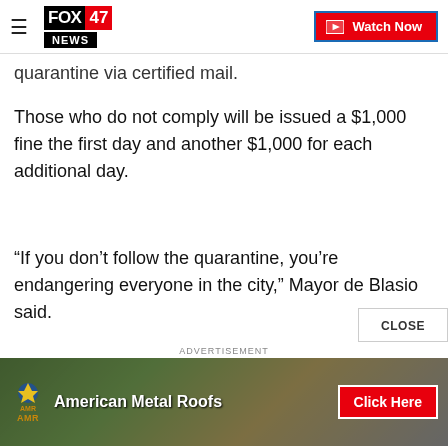FOX 47 NEWS | Watch Now
quarantine via certified mail.
Those who do not comply will be issued a $1,000 fine the first day and another $1,000 for each additional day.
“If you don’t follow the quarantine, you’re endangering everyone in the city,” Mayor de Blasio said.
The mayor also encou... New Yorkers to avoid trave... into...
[Figure (screenshot): Advertisement banner for American Metal Roofs with Click Here button]